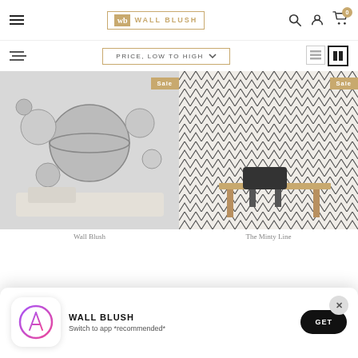Wall Blush — PRICE, LOW TO HIGH — navigation header with logo, search, account, cart icons
[Figure (screenshot): Left product: space/galaxy planet mural wallpaper in a bedroom with Sale badge]
[Figure (screenshot): Right product: black and white chevron/zigzag pattern wallpaper in a home office with Sale badge]
Wall Blush
The Minty Line
[Figure (screenshot): App install banner: WALL BLUSH app with Apple App Store icon, 'Switch to app *recommended*' and GET button]